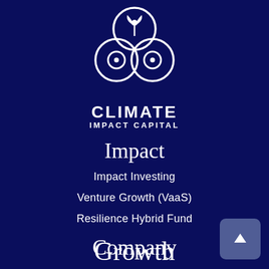[Figure (logo): Climate Impact Capital logo — three overlapping circles with leaf/plant motifs in white on dark navy background, followed by text CLIMATE IMPACT CAPITAL]
Impact
Impact Investing
Venture Growth (VaaS)
Resilience Hybrid Fund
Company
Our Story
Team CIC
CIC Insights
Growth